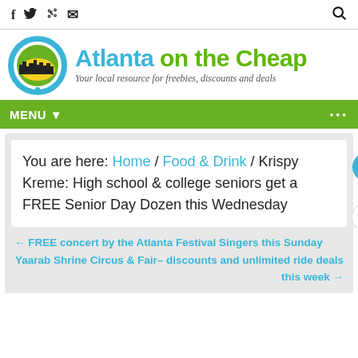Social icons (f, twitter, RSS, mail) and search icon
[Figure (logo): Atlanta on the Cheap logo with circular city skyline icon and text 'Atlanta on the Cheap — Your local resource for freebies, discounts and deals']
MENU ▼
You are here: Home / Food & Drink / Krispy Kreme: High school & college seniors get a FREE Senior Day Dozen this Wednesday
← FREE concert by the Atlanta Festival Singers this Sunday
Yaarab Shrine Circus & Fair– discounts and unlimited ride deals this week →